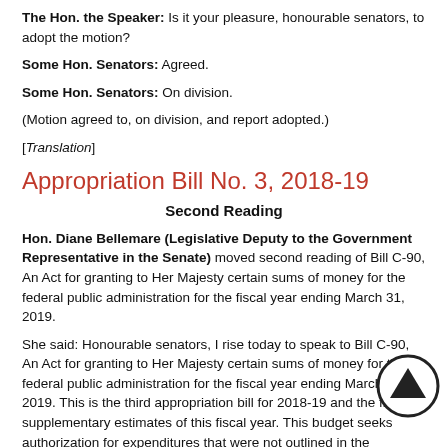The Hon. the Speaker: Is it your pleasure, honourable senators, to adopt the motion?
Some Hon. Senators: Agreed.
Some Hon. Senators: On division.
(Motion agreed to, on division, and report adopted.)
[Translation]
Appropriation Bill No. 3, 2018-19
Second Reading
Hon. Diane Bellemare (Legislative Deputy to the Government Representative in the Senate) moved second reading of Bill C-90, An Act for granting to Her Majesty certain sums of money for the federal public administration for the fiscal year ending March 31, 2019.
She said: Honourable senators, I rise today to speak to Bill C-90, An Act for granting to Her Majesty certain sums of money for the federal public administration for the fiscal year ending March 31, 2019. This is the third appropriation bill for 2018-19 and the first supplementary estimates of this fiscal year. This budget seeks authorization for expenditures that were not outlined in the